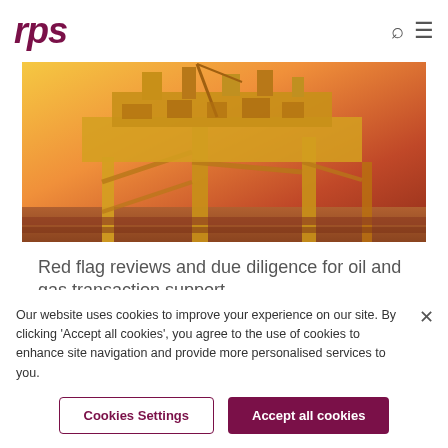rps
[Figure (photo): Offshore oil and gas platform at sunset with orange/golden sky over the sea]
Red flag reviews and due diligence for oil and gas transaction support
Find out more »
Our website uses cookies to improve your experience on our site. By clicking 'Accept all cookies', you agree to the use of cookies to enhance site navigation and provide more personalised services to you.
Cookies Settings
Accept all cookies